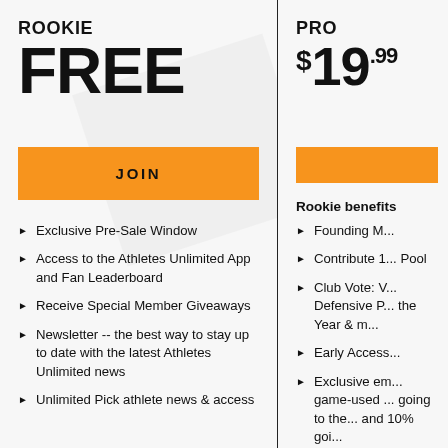ROOKIE
FREE
JOIN
Exclusive Pre-Sale Window
Access to the Athletes Unlimited App and Fan Leaderboard
Receive Special Member Giveaways
Newsletter -- the best way to stay up to date with the latest Athletes Unlimited news
Unlimited Pick athlete news & access
PRO
$19.99
Rookie benefits
Founding M...
Contribute 1... Pool
Club Vote: V... Defensive P... the Year & m...
Early Access...
Exclusive em... game-used ... going to the... and 10% goi...